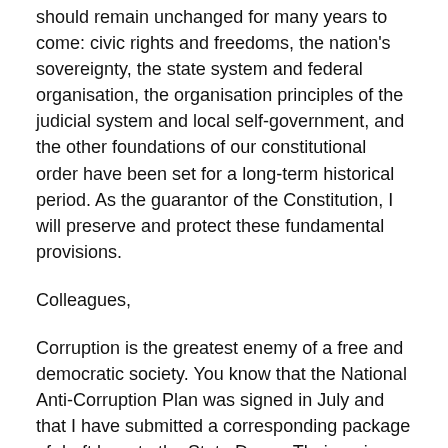should remain unchanged for many years to come: civic rights and freedoms, the nation's sovereignty, the state system and federal organisation, the organisation principles of the judicial system and local self-government, and the other foundations of our constitutional order have been set for a long-term historical period. As the guarantor of the Constitution, I will preserve and protect these fundamental provisions.
Colleagues,
Corruption is the greatest enemy of a free and democratic society. You know that the National Anti-Corruption Plan was signed in July and that I have submitted a corresponding package of draft laws to the State Duma. Their main feature is that they take a comprehensive, systemic and targeted approach. They are designed above all to eradicate the causes of corruption, which has its roots in the shortcomings in our government and economic mechanisms.